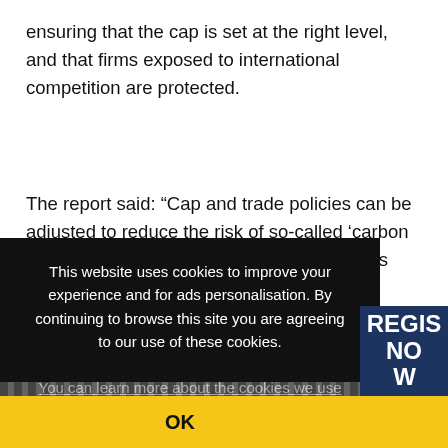ensuring that the cap is set at the right level, and that firms exposed to international competition are protected.
The report said: “Cap and trade policies can be adjusted to reduce the risk of so-called ‘carbon leakage’: when energy-intensive businesses exposed to international [competition relocate to avoid the carbon costs, undermining] the [effectiveness of the policy. Governments can address that]
This website uses cookies to improve your experience and for ads personalisation. By continuing to browse this site you are agreeing to our use of these cookies.
You can learn more about the cookies we use here.
REGIS NOW
OK